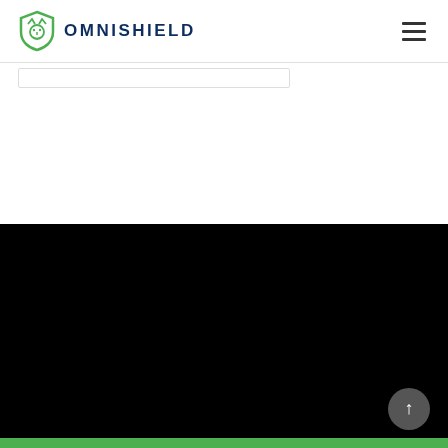OMNISHIELD
[Figure (screenshot): Black content area / video panel filling the lower half of the page]
[Figure (illustration): Scroll-to-top circular button with upward arrow in dark grey]